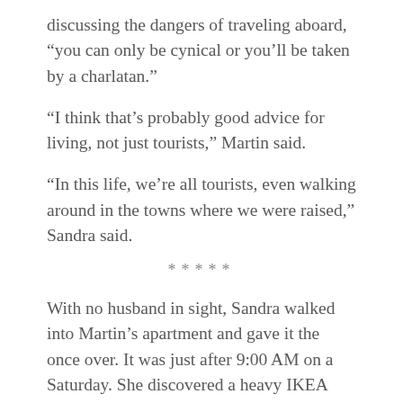discussing the dangers of traveling aboard, “you can only be cynical or you’ll be taken by a charlatan.”
“I think that’s probably good advice for living, not just tourists,” Martin said.
“In this life, we’re all tourists, even walking around in the towns where we were raised,” Sandra said.
*****
With no husband in sight, Sandra walked into Martin’s apartment and gave it the once over. It was just after 9:00 AM on a Saturday. She discovered a heavy IKEA aesthetic, mixed with abstract paintings on the wall. His older son had gone to art school in Rhode Island before joining an advertising agency in Chicago. Over the years